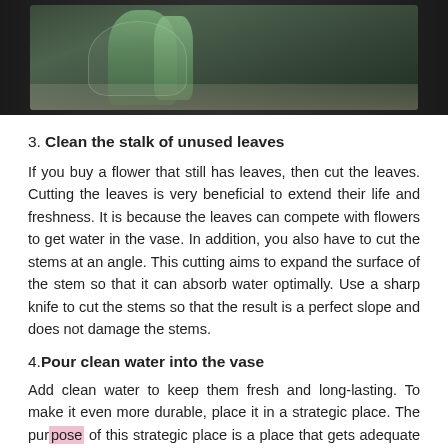[Figure (photo): A glass vase or bottle with green plant stems/leaves inside, placed on a wooden surface with a dark background]
3. Clean the stalk of unused leaves
If you buy a flower that still has leaves, then cut the leaves. Cutting the leaves is very beneficial to extend their life and freshness. It is because the leaves can compete with flowers to get water in the vase. In addition, you also have to cut the stems at an angle. This cutting aims to expand the surface of the stem so that it can absorb water optimally. Use a sharp knife to cut the stems so that the result is a perfect slope and does not damage the stems.
4. Pour clean water into the vase
Add clean water to keep them fresh and long-lasting. To make it even more durable, place it in a strategic place. The purpose of this strategic place is a place that gets adequate light. So it